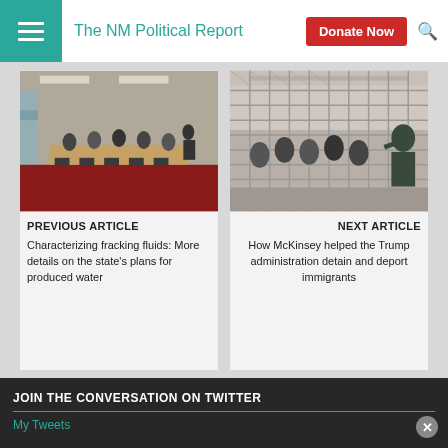The NM Political Report
[Figure (photo): Meeting room with people seated around a long table, red carpet, speaker at podium]
PREVIOUS ARTICLE
Characterizing fracking fluids: More details on the state's plans for produced water
[Figure (photo): People behind chain-link fence, border detention facility, guard in uniform]
NEXT ARTICLE
How McKinsey helped the Trump administration detain and deport immigrants
JOIN THE CONVERSATION ON TWITTER
My Tweets